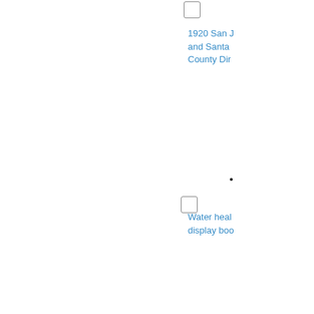[Figure (other): Small square checkbox icon near top center of page]
1920 San J and Santa County Dir
[Figure (other): Small dot and square checkbox icon near middle of page]
Water heal display boo